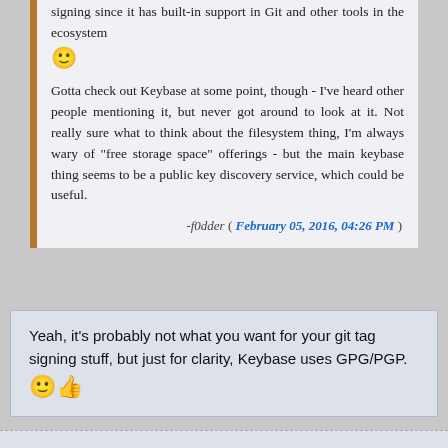signing since it has built-in support in Git and other tools in the ecosystem 🙂
Gotta check out Keybase at some point, though - I've heard other people mentioning it, but never got around to look at it. Not really sure what to think about the filesystem thing, I'm always wary of "free storage space" offerings - but the main keybase thing seems to be a public key discovery service, which could be useful.
-f0dder ( February 05, 2016, 04:26 PM )
Yeah, it's probably not what you want for your git tag signing stuff, but just for clarity, Keybase uses GPG/PGP. 🙂👍